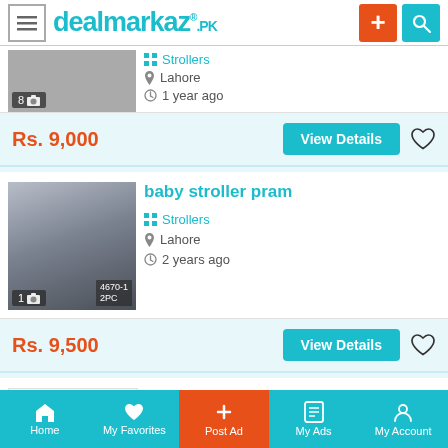dealmarkaz.pk
Strollers | Lahore | 1 year ago | Rs. 9,000
baby stroller pram | Strollers | Lahore | 2 years ago | Rs. 9,500
Imported American Pram | Strollers
Home | My Favorites | Post Ad | My Ads | My Account